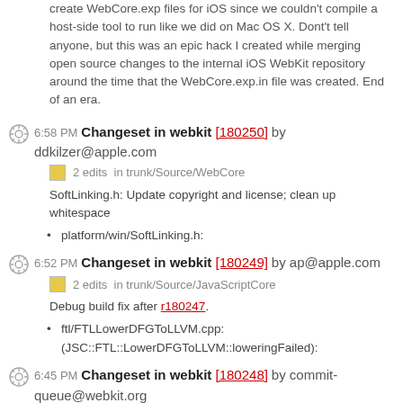create WebCore.exp files for iOS since we couldn't compile a host-side tool to run like we did on Mac OS X. Dont't tell anyone, but this was an epic hack I created while merging open source changes to the internal iOS WebKit repository around the time that the WebCore.exp.in file was created. End of an era.
6:58 PM Changeset in webkit [180250] by ddkilzer@apple.com
2 edits in trunk/Source/WebCore
SoftLinking.h: Update copyright and license; clean up whitespace
platform/win/SoftLinking.h:
6:52 PM Changeset in webkit [180249] by ap@apple.com
2 edits in trunk/Source/JavaScriptCore
Debug build fix after r180247.
ftl/FTLLowerDFGToLLVM.cpp: (JSC::FTL::LowerDFGToLLVM::loweringFailed):
6:45 PM Changeset in webkit [180248] by commit-queue@webkit.org
3 edits in trunk/Source/JavaScriptCore
Unreviewed, rolling out r180184. https://bugs.webkit.org/show_bug.cgi?id=141733 Caused infinite recursion on js/function-apply-aliased.html (Requested by ap_ on #webkit).